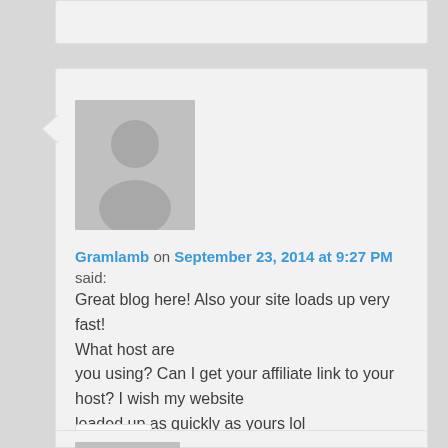[Figure (other): User avatar placeholder (gray silhouette) for comment by Gramlamb]
Gramlamb on September 23, 2014 at 9:27 PM said:
Great blog here! Also your site loads up very fast! What host are you using? Can I get your affiliate link to your host? I wish my website loaded up as quickly as yours lol
Reply ↓
[Figure (other): User avatar placeholder (gray silhouette) for second comment]